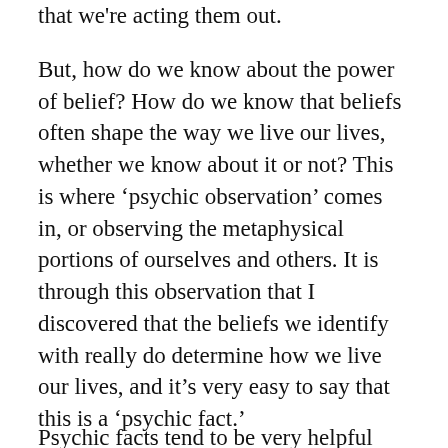that we're acting them out.
But, how do we know about the power of belief? How do we know that beliefs often shape the way we live our lives, whether we know about it or not? This is where ‘psychic observation’ comes in, or observing the metaphysical portions of ourselves and others. It is through this observation that I discovered that the beliefs we identify with really do determine how we live our lives, and it’s very easy to say that this is a ‘psychic fact.’
Psychic facts tend to be very helpful